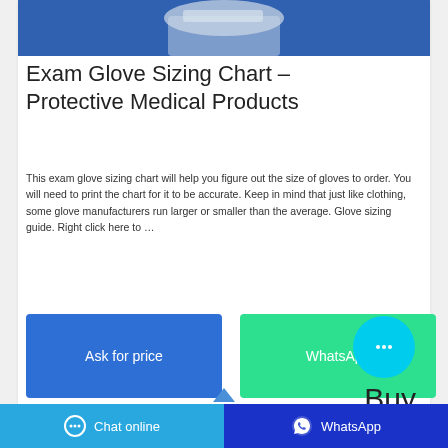[Figure (photo): Product photo of exam gloves on blue background, partially cropped at top]
Exam Glove Sizing Chart – Protective Medical Products
This exam glove sizing chart will help you figure out the size of gloves to order. You will need to print the chart for it to be accurate. Keep in mind that just like clothing, some glove manufacturers run larger or smaller than the average. Glove sizing guide. Right click here to …
[Figure (screenshot): Ask for price button (blue) and WhatsApp button (green), with cyan chat bubble icon]
Buy
Chat online   WhatsApp